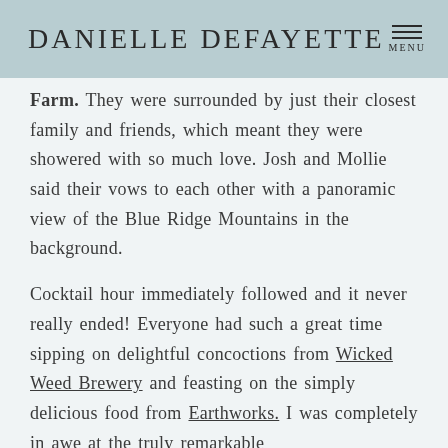DANIELLE DEFAYETTE  MENU
Farm. They were surrounded by just their closest family and friends, which meant they were showered with so much love. Josh and Mollie said their vows to each other with a panoramic view of the Blue Ridge Mountains in the background.

Cocktail hour immediately followed and it never really ended! Everyone had such a great time sipping on delightful concoctions from Wicked Weed Brewery and feasting on the simply delicious food from Earthworks. I was completely in awe at the truly remarkable